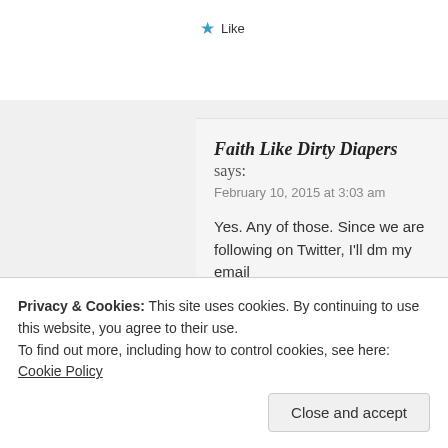★ Like
Faith Like Dirty Diapers says:
February 10, 2015 at 3:03 am
Yes. Any of those. Since we are following on Twitter, I'll dm my email
★ Like
Taunya Richards says:
February 10, 2015 at 2:43 am
Privacy & Cookies: This site uses cookies. By continuing to use this website, you agree to their use. To find out more, including how to control cookies, see here: Cookie Policy
Close and accept